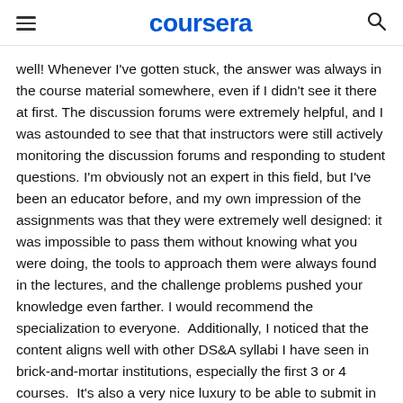coursera
well! Whenever I've gotten stuck, the answer was always in the course material somewhere, even if I didn't see it there at first. The discussion forums were extremely helpful, and I was astounded to see that that instructors were still actively monitoring the discussion forums and responding to student questions. I'm obviously not an expert in this field, but I've been an educator before, and my own impression of the assignments was that they were extremely well designed: it was impossible to pass them without knowing what you were doing, the tools to approach them were always found in the lectures, and the challenge problems pushed your knowledge even farther. I would recommend the specialization to everyone.  Additionally, I noticed that the content aligns well with other DS&A syllabi I have seen in brick-and-mortar institutions, especially the first 3 or 4 courses.  It's also a very nice luxury to be able to submit in Python.  I have certainly learned a great deal.